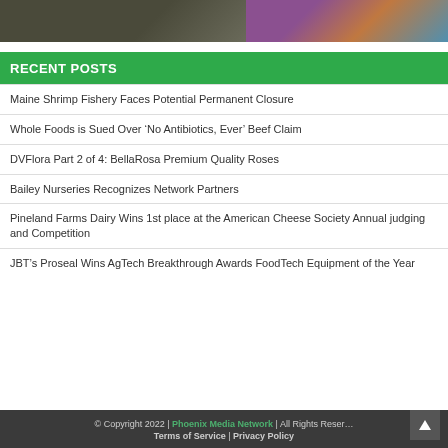[Figure (photo): Two cropped photos side by side: left shows an animal in dark tones, right shows colorful produce or flowers]
RECENT POSTS
Maine Shrimp Fishery Faces Potential Permanent Closure
Whole Foods is Sued Over ‘No Antibiotics, Ever’ Beef Claim
DVFlora Part 2 of 4: BellaRosa Premium Quality Roses
Bailey Nurseries Recognizes Network Partners
Pineland Farms Dairy Wins 1st place at the American Cheese Society Annual judging and Competition
JBT’s Proseal Wins AgTech Breakthrough Awards FoodTech Equipment of the Year
© Copyright 2022 | Phoenix Media Network | All Rights Reserved Terms of Service | Privacy Policy